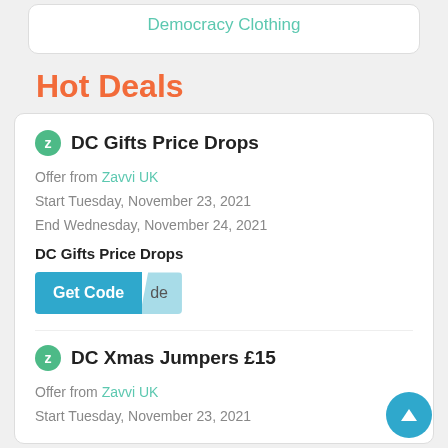Democracy Clothing
Hot Deals
DC Gifts Price Drops
Offer from Zavvi UK
Start Tuesday, November 23, 2021
End Wednesday, November 24, 2021
DC Gifts Price Drops
Get Code
DC Xmas Jumpers £15
Offer from Zavvi UK
Start Tuesday, November 23, 2021